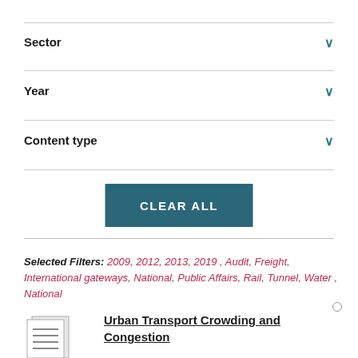Sector ∨
Year ∨
Content type ∨
CLEAR ALL
Selected Filters: 2009, 2012, 2013, 2019 , Audit, Freight, International gateways, National, Public Affairs, Rail, Tunnel, Water , National
Urban Transport Crowding and Congestion